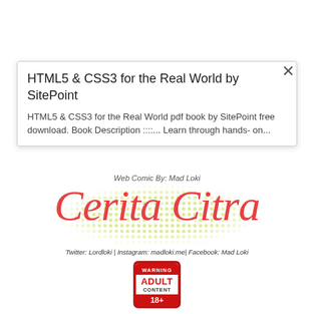HTML5 & CSS3 for the Real World by SitePoint
HTML5 & CSS3 for the Real World pdf book by SitePoint free download. Book Description ::::... Learn through hands- on...
[Figure (logo): Cerita Citra web comic logo with dot pattern background, 'Web Comic By: Mad Loki' text above, social media handles below: Twitter: Lordloki | Instagram: madloki.me| Facebook: Mad Loki]
[Figure (other): Warning Adult Content 18+ badge/seal in red and white]